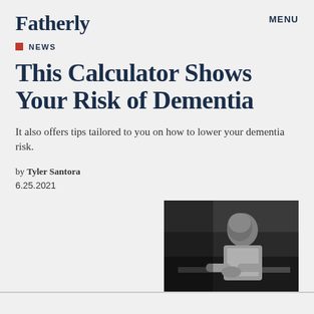Fatherly
MENU
NEWS
This Calculator Shows Your Risk of Dementia
It also offers tips tailored to you on how to lower your dementia risk.
by Tyler Santora
6.25.2021
[Figure (photo): Black and white photograph of an older bald man sitting at a table, looking downward with hands clasped.]
ould you live your life differently if